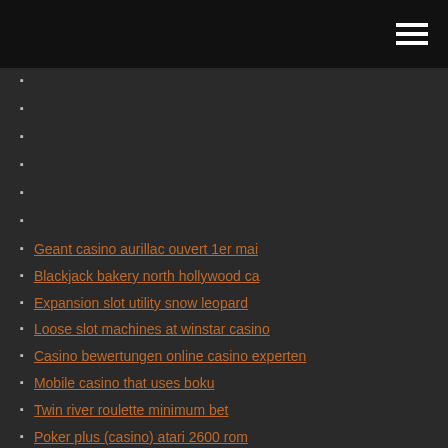Geant casino aurillac ouvert 1er mai
Blackjack bakery north hollywood ca
Expansion slot utility snow leopard
Loose slot machines at winstar casino
Casino bewertungen online casino experten
Mobile casino that uses boku
Twin river roulette minimum bet
Poker plus (casino) atari 2600 rom